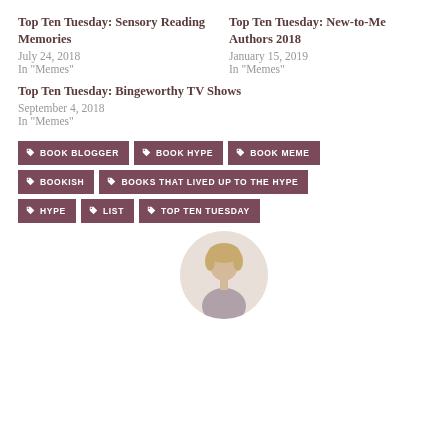Top Ten Tuesday: Sensory Reading Memories
July 24, 2018
In "Memes"
Top Ten Tuesday: New-to-Me Authors 2018
January 15, 2019
In "Memes"
Top Ten Tuesday: Bingeworthy TV Shows
September 4, 2018
In "Memes"
BOOK BLOGGER
BOOK HYPE
BOOK MEME
BOOKISH
BOOKS THAT LIVED UP TO THE HYPE
HYPE
LIST
TOP TEN TUESDAY
[Figure (photo): Circular avatar photo of a woman with blonde hair]